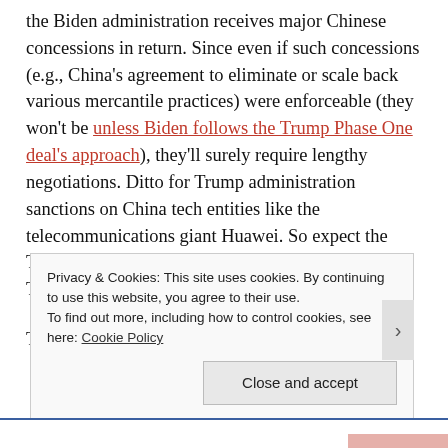the Biden administration receives major Chinese concessions in return. Since even if such concessions (e.g., China's agreement to eliminate or scale back various mercantile practices) were enforceable (they won't be unless Biden follows the Trump Phase One deal's approach), they'll surely require lengthy negotiations. Ditto for Trump administration sanctions on China tech entities like the telecommunications giant Huawei. So expect the Trump-ian China status quo to long outlast Mr. Trump.
To…
Privacy & Cookies: This site uses cookies. By continuing to use this website, you agree to their use. To find out more, including how to control cookies, see here: Cookie Policy